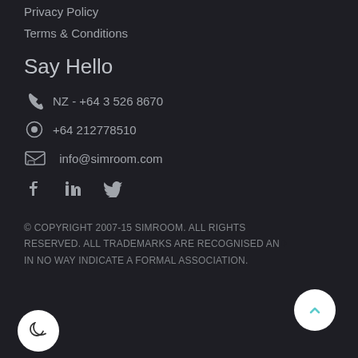Privacy Policy
Terms & Conditions
Say Hello
NZ - +64 3 526 8670
+64 212778510
info@simroom.com
[Figure (other): Social media icons: Facebook, LinkedIn, Twitter]
© COPYRIGHT 2007-15 SIMROOM. ALL RIGHTS RESERVED. ALL TRADEMARKS ARE RECOGNISED AND IN NO WAY INDICATE A FORMAL ASSOCIATION.